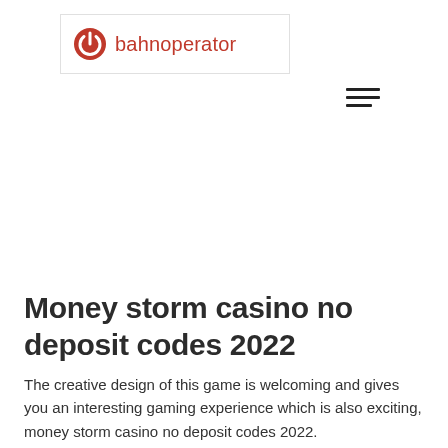[Figure (logo): bahnoperator logo with red power button icon and red text 'bahnoperator' inside a white bordered box]
[Figure (other): Hamburger menu icon with three horizontal lines (two full-width, one shorter)]
Money storm casino no deposit codes 2022
The creative design of this game is welcoming and gives you an interesting gaming experience which is also exciting, money storm casino no deposit codes 2022.